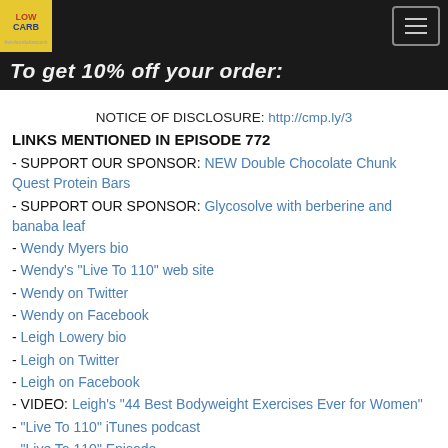Jimmy Moore's Low-Carb Show - navigation header with logo and hamburger menu
To get 10% off your order:
NOTICE OF DISCLOSURE: http://cmp.ly/3
LINKS MENTIONED IN EPISODE 772
- SUPPORT OUR SPONSOR: NEW Double Chocolate Chunk Quest Protein Bars
- SUPPORT OUR SPONSOR: Glycosolve with berberine and banaba leaf
- Wendy Myers bio
- Wendy's "Live To 110" web site
- Wendy on Twitter
- Wendy on Facebook
- Leigh Lowery bio
- Leigh on Twitter
- Leigh on Facebook
- VIDEO: Leigh's "44 Best Bodyweight Exercises Ever for Women"
- "Live To 110" iTunes podcast
- "Live To 110" Episode #21: Cholesterol Clarity with Jimmy Moore
- 2014 Low-Carb Cruise